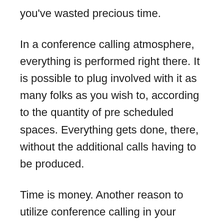you've wasted precious time.
In a conference calling atmosphere, everything is performed right there. It is possible to plug involved with it as many folks as you wish to, according to the quantity of pre scheduled spaces. Everything gets done, there, without the additional calls having to be produced.
Time is money. Another reason to utilize conference calling in your lawyer is that it'll save money! First, we are able to say that it saves your time that may then be converted into profits. By freeing up additional time, it is possible to reach more